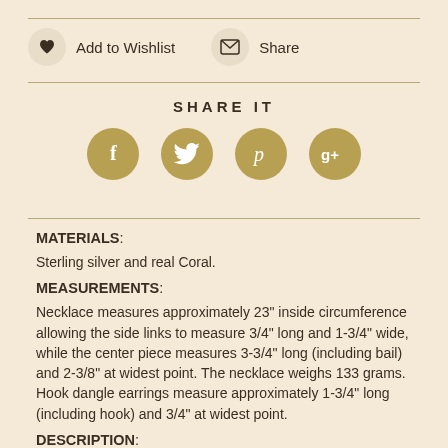[Figure (infographic): Wishlist and Share buttons row: a heart icon in a beige circle labeled 'Add to Wishlist', and an envelope icon in a beige circle labeled 'Share']
SHARE IT
[Figure (infographic): Social media icon row: Facebook (f), Twitter (bird), Pinterest (p), Google+ (g+) — all in golden/tan circles]
MATERIALS:
Sterling silver and real Coral.
MEASUREMENTS:
Necklace measures approximately 23" inside circumference allowing the side links to measure 3/4" long and 1-3/4" wide, while the center piece measures 3-3/4" long (including bail)  and 2-3/8" at widest point. The necklace weighs 133 grams. Hook dangle earrings measure approximately 1-3/4" long (including hook) and 3/4" at widest point.
DESCRIPTION: